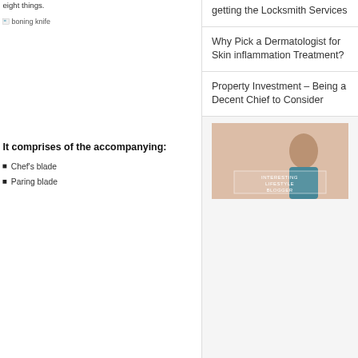eight things.
[Figure (photo): Boning knife image (broken/missing image placeholder)]
It comprises of the accompanying:
Chef's blade
Paring blade
getting the Locksmith Services
Why Pick a Dermatologist for Skin inflammation Treatment?
Property Investment – Being a Decent Chief to Consider
[Figure (photo): Sidebar image of a person, with overlay text 'INTERESTING LIFESTYLE BLOGGER']